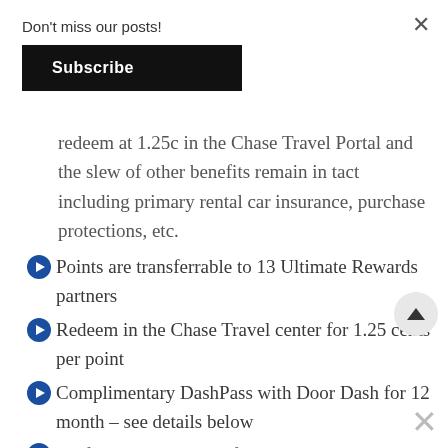Don't miss our posts!
Subscribe
redeem at 1.25c in the Chase Travel Portal and the slew of other benefits remain in tact including primary rental car insurance, purchase protections, etc.
Points are transferrable to 13 Ultimate Rewards partners
Redeem in the Chase Travel center for 1.25 cents per point
Complimentary DashPass with Door Dash for 12 month – see details below
No foreign transaction fees
Suite of Travel and Purchase Coverage
Primary rental car coverage is my